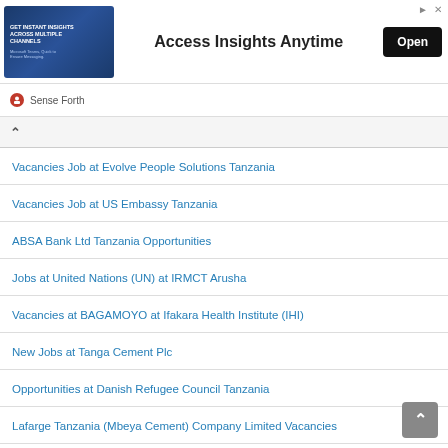[Figure (screenshot): Advertisement banner: image block on left with 'GET INSTANT INSIGHTS ACROSS MULTIPLE CHANNELS' text, center text 'Access Insights Anytime', and black 'Open' button on right]
Sense Forth
Vacancies Job at Evolve People Solutions Tanzania
Vacancies Job at US Embassy Tanzania
ABSA Bank Ltd Tanzania Opportunities
Jobs at United Nations (UN) at IRMCT Arusha
Vacancies at BAGAMOYO at Ifakara Health Institute (IHI)
New Jobs at Tanga Cement Plc
Opportunities at Danish Refugee Council Tanzania
Lafarge Tanzania (Mbeya Cement) Company Limited Vacancies
Opportunities at at The Health and Insurance Management Services